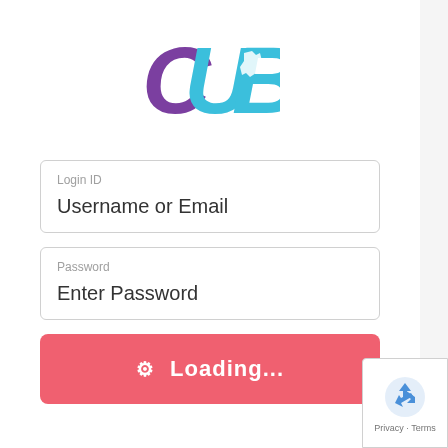[Figure (logo): CUB logo with purple C, cyan U and blue B letters with Wisconsin state outline graphic]
Login ID
Username or Email
Password
Enter Password
⚙ Loading...
[Figure (logo): reCAPTCHA logo badge with Privacy and Terms links]